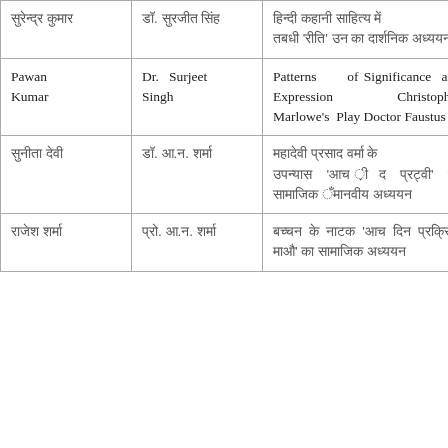| [Hindi text] | [Hindi text] | [Hindi text] | 1990 |
| Pawan Kumar | Dr. Surjeet Singh | Patterns of Significance and Expression Christopher Marlowe's Play Doctor Faustus | 1990 |
| [Hindi text] | [Hindi text] | [Hindi text] | 1990 |
| [Hindi text] | [Hindi text] | [Hindi text] | 1990 |